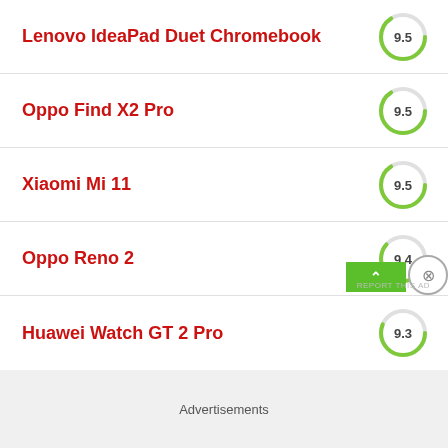Lenovo IdeaPad Duet Chromebook — 9.5
Oppo Find X2 Pro — 9.5
Xiaomi Mi 11 — 9.5
Oppo Reno 2 — 9.4
Huawei Watch GT 2 Pro — 9.3
Advertisements